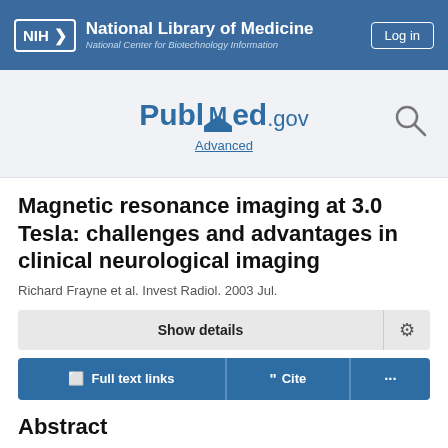[Figure (logo): NIH National Library of Medicine / National Center for Biotechnology Information header bar with Log in button]
[Figure (logo): PubMed.gov logo with Advanced link and search icon]
Magnetic resonance imaging at 3.0 Tesla: challenges and advantages in clinical neurological imaging
Richard Frayne et al. Invest Radiol. 2003 Jul.
Show details
Full text links  Cite  ...
Abstract